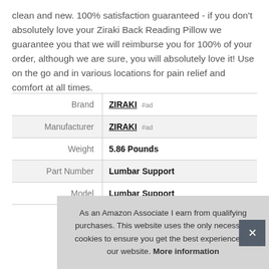clean and new. 100% satisfaction guaranteed - if you don't absolutely love your Ziraki Back Reading Pillow we guarantee you that we will reimburse you for 100% of your order, although we are sure, you will absolutely love it! Use on the go and in various locations for pain relief and comfort at all times.
|  |  |
| --- | --- |
| Brand | ZIRAKI #ad |
| Manufacturer | ZIRAKI #ad |
| Weight | 5.86 Pounds |
| Part Number | Lumbar Support |
| Model | Lumbar Support |
As an Amazon Associate I earn from qualifying purchases. This website uses the only necessary cookies to ensure you get the best experience on our website. More information